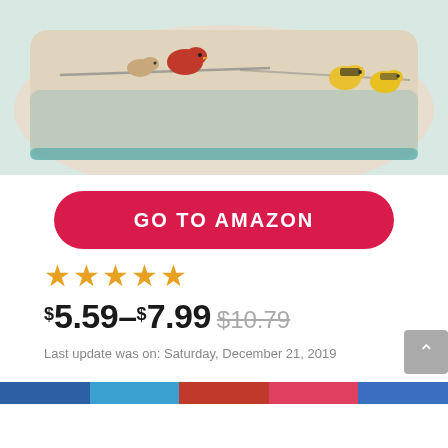[Figure (photo): A decorative throw pillow featuring colorful birds (cardinals and goldfinches) on a rustic light blue/beige linen background. The pillow is shown partially cropped at the top of the page.]
GO TO AMAZON
[Figure (other): 4 gold/orange star rating icons]
$5.59–$7.99 $10.79
Last update was on: Saturday, December 21, 2019
Rustic Wooden Background With Colorful Birds